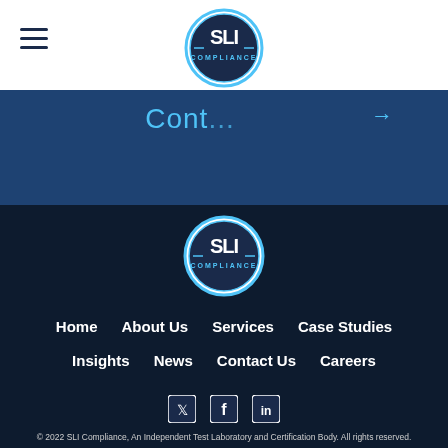[Figure (logo): SLI Compliance logo circular badge - top header]
Cont...
[Figure (logo): SLI Compliance logo circular badge - footer]
Home
About Us
Services
Case Studies
Insights
News
Contact Us
Careers
[Figure (logo): Twitter icon]
[Figure (logo): Facebook icon]
[Figure (logo): LinkedIn icon]
© 2022 SLI Compliance, An Independent Test Laboratory and Certification Body. All rights reserved.
Privacy Policy